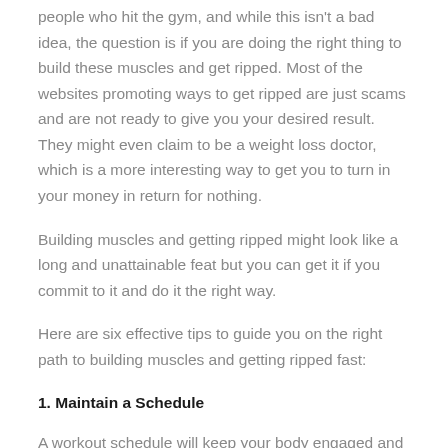question is if you are doing the right thing to build these muscles and get ripped. Most of the websites promoting ways to get ripped are just scams and are not ready to give you your desired result. They might even claim to be a weight loss doctor, which is a more interesting way to get you to turn in your money in return for nothing.
Building muscles and getting ripped might look like a long and unattainable feat but you can get it if you commit to it and do it the right way.
Here are six effective tips to guide you on the right path to building muscles and getting ripped fast:
1. Maintain a Schedule
A workout schedule will keep your body engaged and also help you to be consistent with your training. Set up a schedule with